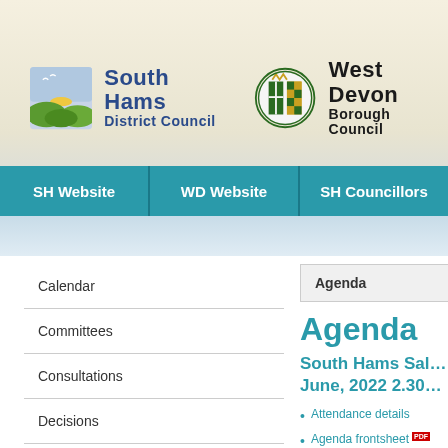[Figure (logo): South Hams District Council logo with landscape icon]
[Figure (logo): West Devon Borough Council logo with coat of arms]
SH Website | WD Website | SH Councillors
Calendar
Committees
Consultations
Decisions
ePetitions
Forthcoming Decisions
Agenda
Agenda
South Hams Sal… June, 2022 2.30…
Attendance details
Agenda frontsheet PDF